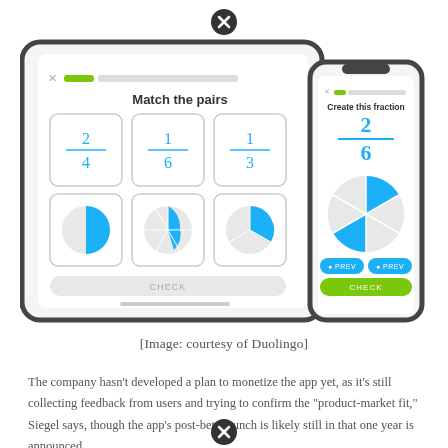[Figure (screenshot): Screenshot of Duolingo math app showing tablet and phone interfaces. Tablet shows 'Match the pairs' exercise with fractions 2/4, 1/6, 1/3 and corresponding pie chart icons. Phone shows 'Create this fraction' exercise with fraction 2/6 and a pie chart, plus PREV and CHECK buttons.]
[Image: courtesy of Duolingo]
The company hasn’t developed a plan to monetize the app yet, as it’s still collecting feedback from users and trying to confirm the “product-market fit,” Siegel says, though the app’s post-beta launch is likely still in that one year is announced.